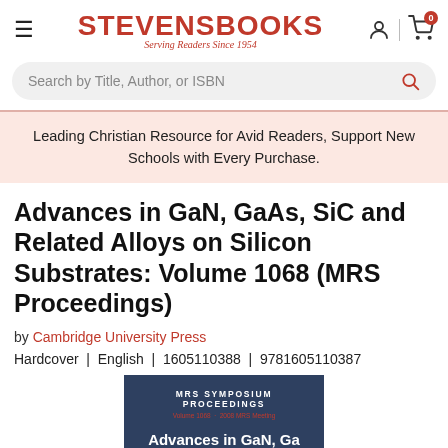STEVENSBOOKS — Serving Readers Since 1954
Search by Title, Author, or ISBN
Leading Christian Resource for Avid Readers, Support New Schools with Every Purchase.
Advances in GaN, GaAs, SiC and Related Alloys on Silicon Substrates: Volume 1068 (MRS Proceedings)
by Cambridge University Press
Hardcover | English | 1605110388 | 9781605110387
[Figure (photo): Book cover showing MRS Symposium Proceedings Volume 1068, 2008 MRS Meeting, dark blue background with white title text beginning 'Advances in GaN...']